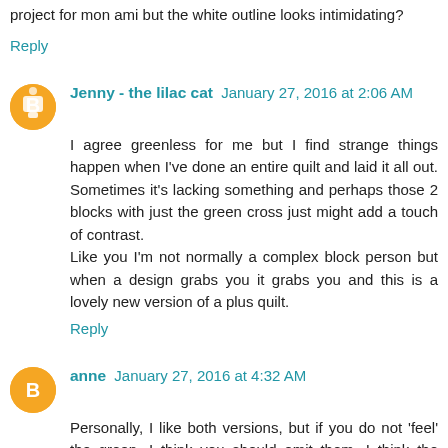project for mon ami but the white outline looks intimidating?
Reply
Jenny - the lilac cat January 27, 2016 at 2:06 AM
I agree greenless for me but I find strange things happen when I've done an entire quilt and laid it all out. Sometimes it's lacking something and perhaps those 2 blocks with just the green cross just might add a touch of contrast.
Like you I'm not normally a complex block person but when a design grabs you it grabs you and this is a lovely new version of a plus quilt.
Reply
anne January 27, 2016 at 4:32 AM
Personally, I like both versions, but if you do not 'feel' the green, I think you should omit them. I think the version with the green leans towards a fuller coverage of primary/secondary colors (which you might consider boring), while the one without the green is more complex,